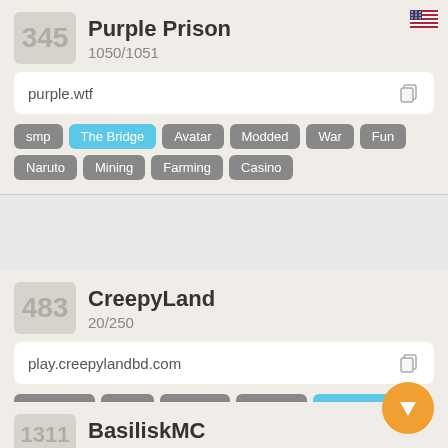345
Purple Prison
1050/1051
purple.wtf
smp
The Bridge
Avatar
Modded
War
Fun
Naruto
Mining
Farming
Casino
483
CreepyLand
20/250
play.creepylandbd.com
Bed Wars
Skyb
Survival
Practice
The Bridge
1311
BasiliskMC